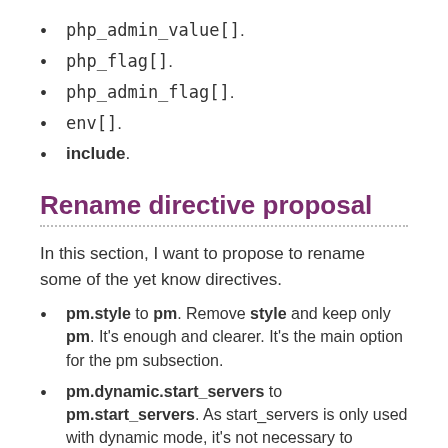php_admin_value[].
php_flag[].
php_admin_flag[].
env[].
include.
Rename directive proposal
In this section, I want to propose to rename some of the yet know directives.
pm.style to pm. Remove style and keep only pm. It's enough and clearer. It's the main option for the pm subsection.
pm.dynamic.start_servers to pm.start_servers. As start_servers is only used with dynamic mode, it's not necessary to precise it's dynamic.